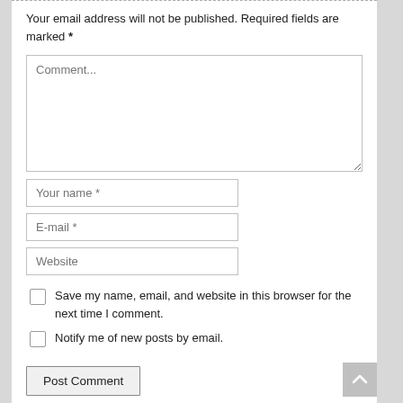Your email address will not be published. Required fields are marked *
[Figure (screenshot): Comment text area input box with placeholder text 'Comment...']
[Figure (screenshot): Text input field with placeholder 'Your name *']
[Figure (screenshot): Text input field with placeholder 'E-mail *']
[Figure (screenshot): Text input field with placeholder 'Website']
Save my name, email, and website in this browser for the next time I comment.
Notify me of new posts by email.
Post Comment